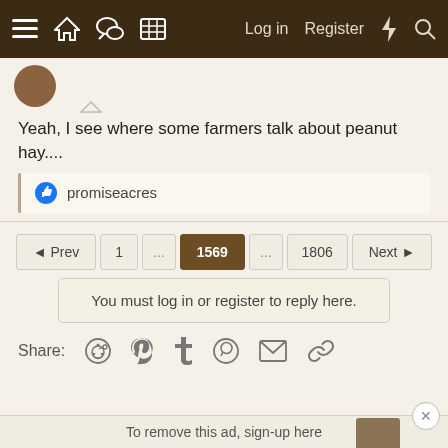Navigation bar with menu, home, chat, grid icons and Log in, Register, lightning, search icons
Yeah, I see where some farmers talk about peanut hay....
promiseacres
◄ Prev  1  ...  1569  ...  1806  Next ►
You must log in or register to reply here.
Share:
To remove this ad, sign-up here